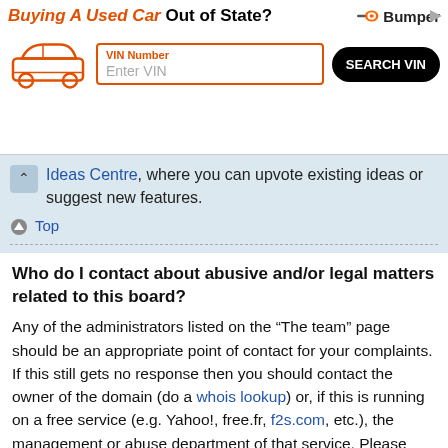[Figure (screenshot): Advertisement banner for 'Bumper' VIN lookup service. Shows 'Buying A Used Car Out of State?' heading with a car icon, VIN Number input field, and a black 'SEARCH VIN' button.]
Ideas Centre, where you can upvote existing ideas or suggest new features.
Top
Who do I contact about abusive and/or legal matters related to this board?
Any of the administrators listed on the “The team” page should be an appropriate point of contact for your complaints. If this still gets no response then you should contact the owner of the domain (do a whois lookup) or, if this is running on a free service (e.g. Yahoo!, free.fr, f2s.com, etc.), the management or abuse department of that service. Please note that the phpBB Limited has absolutely no jurisdiction and cannot in any way be held liable over how, where or by whom this board is used. Do not contact the phpBB Limited in relation to any legal (cease and desist, liable, defamatory comment, etc.) matter not directly related to the phpBB.com website or the discrete software of phpBB itself. If you do email phpBB Limited about any third party use of this software then u